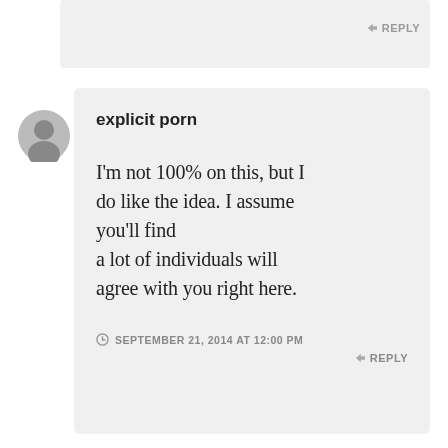[Figure (screenshot): Partial top comment box with a reply button visible at upper right]
↳ REPLY
[Figure (illustration): Gray generic user avatar (person silhouette)]
explicit porn
I'm not 100% on this, but I do like the idea. I assume you'll find a lot of individuals will agree with you right here.
SEPTEMBER 21, 2014 AT 12:00 PM
↳ REPLY